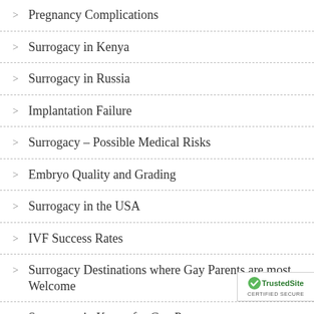Pregnancy Complications
Surrogacy in Kenya
Surrogacy in Russia
Implantation Failure
Surrogacy – Possible Medical Risks
Embryo Quality and Grading
Surrogacy in the USA
IVF Success Rates
Surrogacy Destinations where Gay Parents are most Welcome
Surrogacy in Kenya for Gay Parents
Herpes and Egg Donation